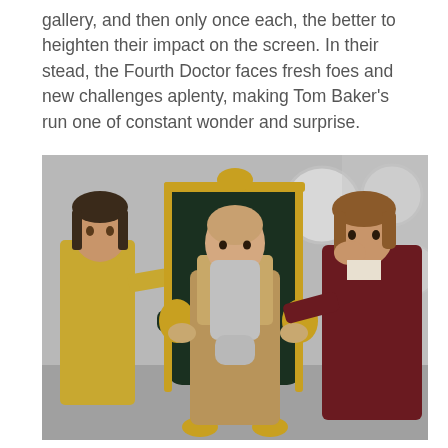gallery, and then only once each, the better to heighten their impact on the screen. In their stead, the Fourth Doctor faces fresh foes and new challenges aplenty, making Tom Baker's run one of constant wonder and surprise.
[Figure (photo): A scene from Doctor Who featuring three characters: a young person in gold/yellow costume on the left, an elderly bearded man seated in an ornate dark green and gold throne in the center, and Tom Baker as the Fourth Doctor in a dark burgundy coat on the right, leaning forward with hand near face. The background shows the TARDIS console room with circular white panels on the walls.]